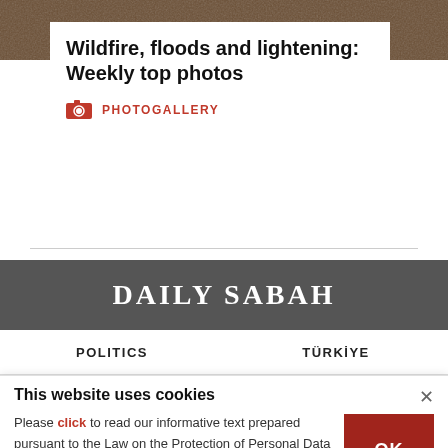[Figure (photo): Background photo bar at top showing wildfire/flood scene]
Wildfire, floods and lightening: Weekly top photos
PHOTOGALLERY
[Figure (logo): DAILY SABAH logo on dark grey banner]
POLITICS    TÜRKİYE
This website uses cookies
Please click to read our informative text prepared pursuant to the Law on the Protection of Personal Data No. 6698 and to get information about the cookies used on our